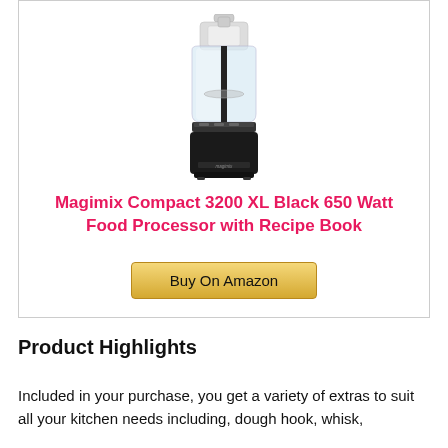[Figure (photo): Black Magimix Compact 3200 XL food processor with clear bowl and lid]
Magimix Compact 3200 XL Black 650 Watt Food Processor with Recipe Book
Buy On Amazon
Product Highlights
Included in your purchase, you get a variety of extras to suit all your kitchen needs including, dough hook, whisk,